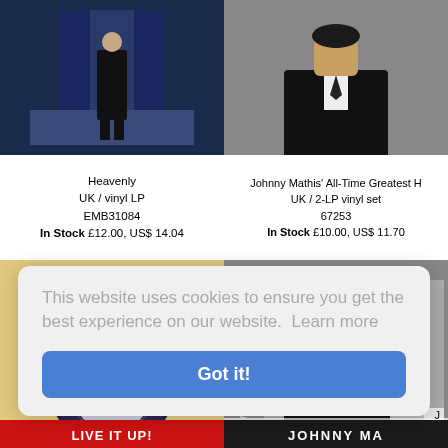[Figure (photo): Top-left: Heavenly album cover - dark blue background with person standing]
Heavenly
UK / vinyl LP
EMB31084
In Stock £12.00, US$ 14.04
[Figure (photo): Top-right: Johnny Mathis All-Time Greatest Hits album cover - man in suit]
Johnny Mathis' All-Time Greatest H
UK / 2-LP vinyl set
67253
In Stock £10.00, US$ 11.70
[Figure (photo): Bottom-left: Philips/Fontana record label on a vinyl single, cream/yellow sleeve]
[Figure (photo): Bottom-right: All For You album cover - Johnny Mathis portrait]
US$ 9.36
This website uses cookies to ensure you get the best experience on our website.  Learn more
Got it!
[Figure (photo): Bottom strip: partial album covers - red text on left, dark on right]